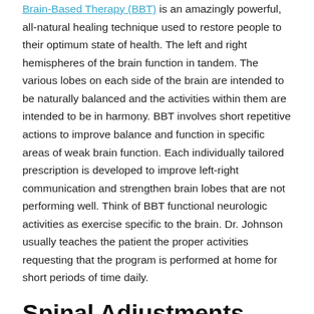Brain-Based Therapy (BBT) is an amazingly powerful, all-natural healing technique used to restore people to their optimum state of health. The left and right hemispheres of the brain function in tandem. The various lobes on each side of the brain are intended to be naturally balanced and the activities within them are intended to be in harmony. BBT involves short repetitive actions to improve balance and function in specific areas of weak brain function. Each individually tailored prescription is developed to improve left-right communication and strengthen brain lobes that are not performing well. Think of BBT functional neurologic activities as exercise specific to the brain. Dr. Johnson usually teaches the patient the proper activities requesting that the program is performed at home for short periods of time daily.
Spinal Adjustments
Unilateral Spinal Adjustment seeks to improve the effects...